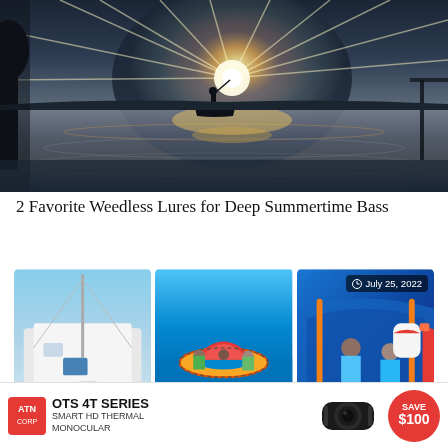[Figure (photo): Silhouette of a fishing boat on a calm lake at sunset with sun rays reflecting on the water surface]
2 Favorite Weedless Lures for Deep Summertime Bass
[Figure (photo): Three images side by side: 1) Close-up of a white sailboat hull, 2) Orange life raft deployed in blue water with people around it, 3) People sitting inside what appears to be a boat cabin/life raft with safety equipment. Date badge shows July 25, 2022.]
[Figure (infographic): ATN advertisement banner: OTS 4T Series Smart HD Thermal Monocular - Save $100, with ATN logo, binocular image, and red circular Save $100 badge]